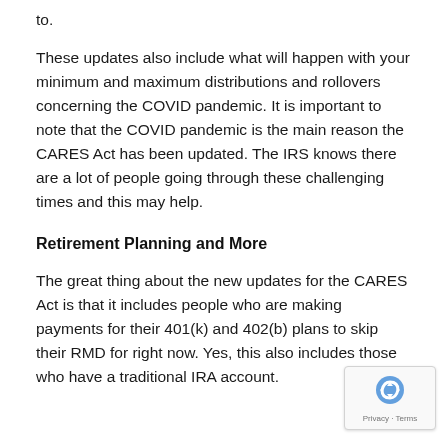to.
These updates also include what will happen with your minimum and maximum distributions and rollovers concerning the COVID pandemic. It is important to note that the COVID pandemic is the main reason the CARES Act has been updated. The IRS knows there are a lot of people going through these challenging times and this may help.
Retirement Planning and More
The great thing about the new updates for the CARES Act is that it includes people who are making payments for their 401(k) and 402(b) plans to skip their RMD for right now. Yes, this also includes those who have a traditional IRA account.